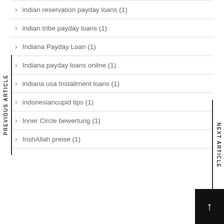indian reservation payday loans (1)
indian tribe payday loans (1)
Indiana Payday Loan (1)
Indiana payday loans online (1)
indiana usa Installment loans (1)
indonesiancupid tips (1)
Inner Circle bewertung (1)
InshAllah preise (1)